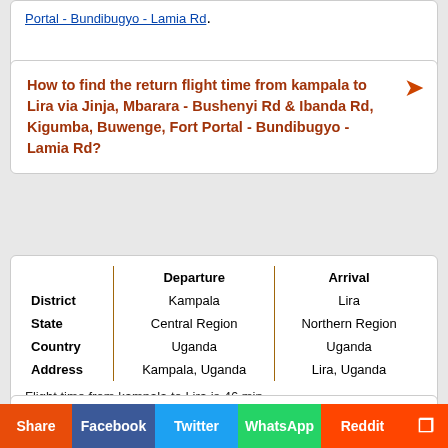Portal - Bundibugyo - Lamia Rd.
How to find the return flight time from kampala to Lira via Jinja, Mbarara - Bushenyi Rd & Ibanda Rd, Kigumba, Buwenge, Fort Portal - Bundibugyo - Lamia Rd?
|  | Departure | Arrival |
| --- | --- | --- |
| District | Kampala | Lira |
| State | Central Region | Northern Region |
| Country | Uganda | Uganda |
| Address | Kampala, Uganda | Lira, Uganda |
Flight time from kampala to Lira is 46 min.
Recent kampala Flight Times
Flight Time from kampala to First St
Share  Facebook  Twitter  WhatsApp  Reddit